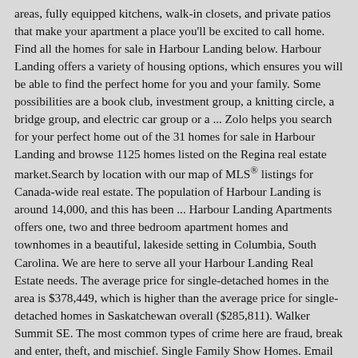areas, fully equipped kitchens, walk-in closets, and private patios that make your apartment a place you'll be excited to call home. Find all the homes for sale in Harbour Landing below. Harbour Landing offers a variety of housing options, which ensures you will be able to find the perfect home for you and your family. Some possibilities are a book club, investment group, a knitting circle, a bridge group, and electric car group or a ... Zolo helps you search for your perfect home out of the 31 homes for sale in Harbour Landing and browse 1125 homes listed on the Regina real estate market.Search by location with our map of MLS® listings for Canada-wide real estate. The population of Harbour Landing is around 14,000, and this has been ... Harbour Landing Apartments offers one, two and three bedroom apartment homes and townhomes in a beautiful, lakeside setting in Columbia, South Carolina. We are here to serve all your Harbour Landing Real Estate needs. The average price for single-detached homes in the area is $378,449, which is higher than the average price for single-detached homes in Saskatchewan overall ($285,811). Walker Summit SE. The most common types of crime here are fraud, break and enter, theft, and mischief. Single Family Show Homes. Email Address. We have already held several successful and well attended block parties. The trademarks REALTOR®, REALTORS®, and the REALTOR® logo are controlled by The Canadian Real Estate Association (CREA) and